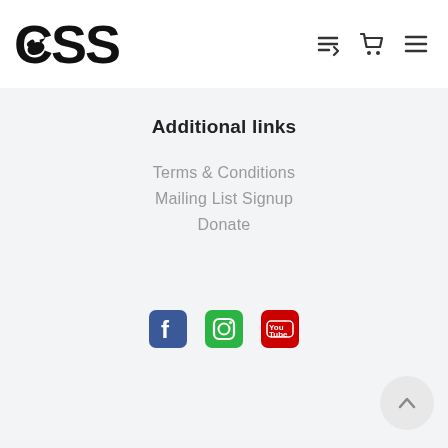CSS logo with navigation icons (wishlist, cart, menu)
Additional links
Terms & Conditions
Mailing List Signup
Donate
[Figure (logo): Social media icons: Facebook, Instagram, YouTube]
[Figure (other): Scroll-to-top button with upward chevron arrow]